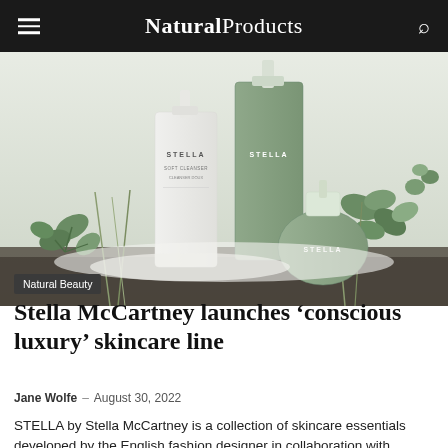Natural Products
[Figure (photo): Three STELLA by Stella McCartney skincare products (a white pump bottle, a tall sage green bottle, and a sage green jar) arranged among green plants on a light background.]
Natural Beauty
Stella McCartney launches 'conscious luxury' skincare line
Jane Wolfe – August 30, 2022
STELLA by Stella McCartney is a collection of skincare essentials developed by the English fashion designer in collaboration with